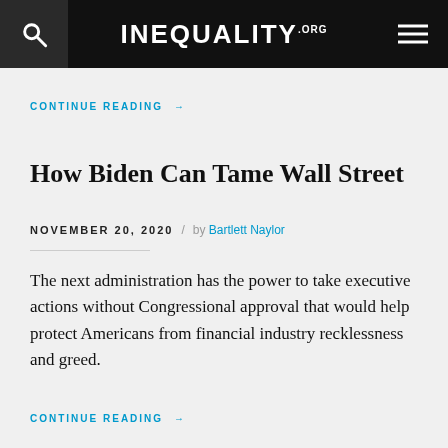INEQUALITY.ORG
CONTINUE READING →
How Biden Can Tame Wall Street
NOVEMBER 20, 2020 / by Bartlett Naylor
The next administration has the power to take executive actions without Congressional approval that would help protect Americans from financial industry recklessness and greed.
CONTINUE READING →